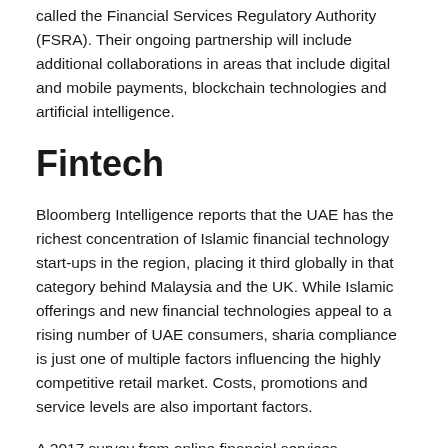called the Financial Services Regulatory Authority (FSRA). Their ongoing partnership will include additional collaborations in areas that include digital and mobile payments, blockchain technologies and artificial intelligence.
Fintech
Bloomberg Intelligence reports that the UAE has the richest concentration of Islamic financial technology start-ups in the region, placing it third globally in that category behind Malaysia and the UK. While Islamic offerings and new financial technologies appeal to a rising number of UAE consumers, sharia compliance is just one of multiple factors influencing the highly competitive retail market. Costs, promotions and service levels are also important factors.
A 2017 survey from online financial services information portal yallacompare found that although figures vary by product line, consumers are still 10% less likely to select an Islamic product over a conventional one. Yallacompare's data also showed that the values and functions and be from conventional